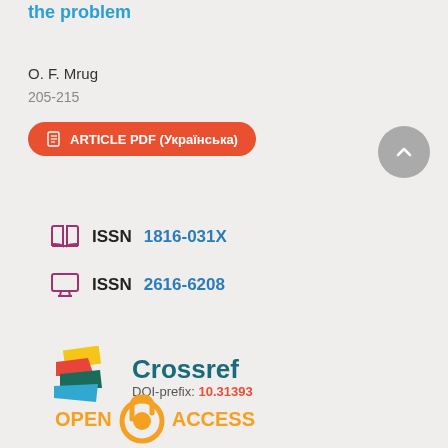the problem
O. F. Mrug
205-215
ARTICLE PDF (Українська)
ISSN 1816-031X
ISSN 2616-6208
[Figure (logo): Crossref logo with DOI-prefix: 10.31393]
[Figure (logo): Open Access logo]